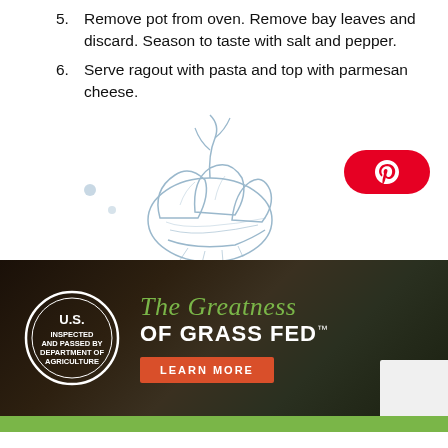5. Remove pot from oven. Remove bay leaves and discard. Season to taste with salt and pepper.
6. Serve ragout with pasta and top with parmesan cheese.
[Figure (illustration): Line drawing illustration of a garlic bulb with cloves]
[Figure (logo): Pinterest red rounded button with white P icon]
[Figure (infographic): Dark banner ad with USDA inspection seal, 'The Greatness of Grass Fed' text in green cursive and white bold, and a red LEARN MORE button]